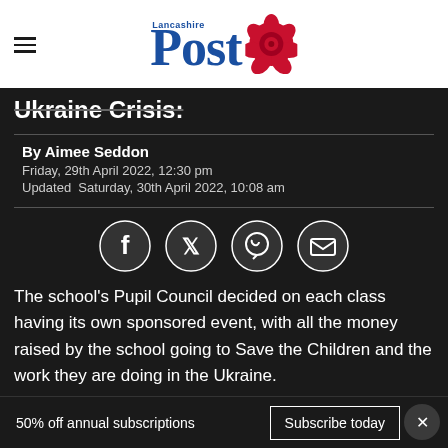Lancashire Post
Ukraine Crisis:
By Aimee Seddon
Friday, 29th April 2022, 12:30 pm
Updated  Saturday, 30th April 2022, 10:08 am
[Figure (infographic): Social sharing icons: Facebook, Twitter, WhatsApp, Email — white icons on dark circular backgrounds]
The school's Pupil Council decided on each class having its own sponsored event, with all the money raised by the school going to Save the Children and the work they are doing in the Ukraine.
50% off annual subscriptions   Subscribe today